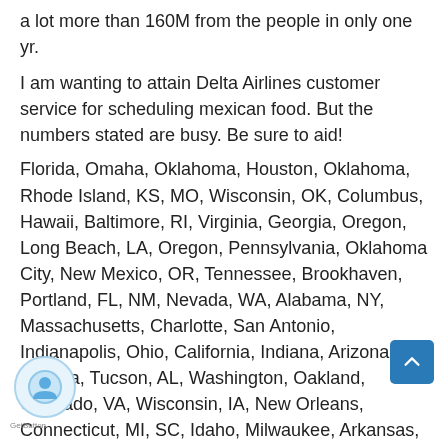a lot more than 160M from the people in only one yr.
I am wanting to attain Delta Airlines customer service for scheduling mexican food. But the numbers stated are busy. Be sure to aid!
Florida, Omaha, Oklahoma, Houston, Oklahoma, Rhode Island, KS, MO, Wisconsin, OK, Columbus, Hawaii, Baltimore, RI, Virginia, Georgia, Oregon, Long Beach, LA, Oregon, Pennsylvania, Oklahoma City, New Mexico, OR, Tennessee, Brookhaven, Portland, FL, NM, Nevada, WA, Alabama, NY, Massachusetts, Charlotte, San Antonio, Indianapolis, Ohio, California, Indiana, Arizona, Virginia, Tucson, AL, Washington, Oakland, Colorado, VA, Wisconsin, IA, New Orleans, Connecticut, MI, SC, Idaho, Milwaukee, Arkansas, Florida, Kentucky, Maine, Mississippi, San Jose, UT, San Diego, SD, Maryland, NE, North Carolina, Nevada, Minnesota, California, New York, Utah, Georgia, West Virginia TN, WYMaryland, Pennsylvania, Denver, Missouri, Cleveland, Albuquerque, Seattle, AR, MT, Vermont, Memphis, WI, Illinois, DE,